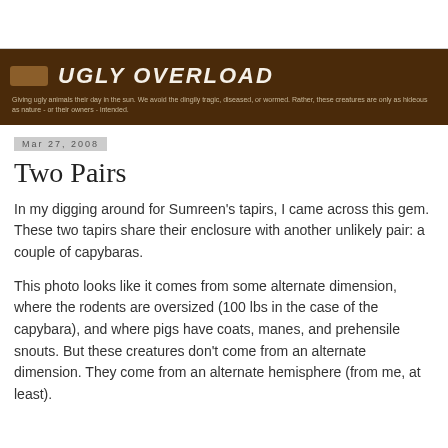UGLY OVERLOAD — Giving ugly animals their day in the sun. We avoid the dingily tragic, diseased, or wormed. Rather, these creatures are only as hideous as nature - or their owners - intended.
Mar 27, 2008
Two Pairs
In my digging around for Sumreen's tapirs, I came across this gem. These two tapirs share their enclosure with another unlikely pair: a couple of capybaras.
This photo looks like it comes from some alternate dimension, where the rodents are oversized (100 lbs in the case of the capybara), and where pigs have coats, manes, and prehensile snouts. But these creatures don't come from an alternate dimension. They come from an alternate hemisphere (from me, at least).